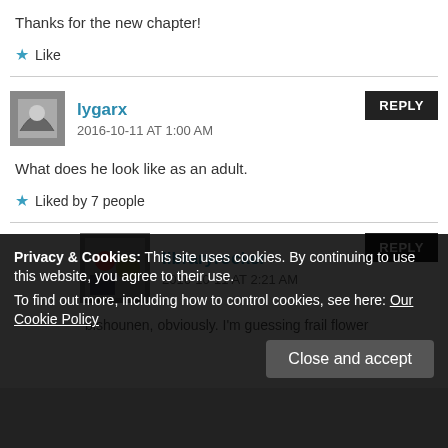Thanks for the new chapter!
Like
lygarx
2016-10-11 AT 1:00 AM
What does he look like as an adult.
Liked by 7 people
libraryrocker
2016-10-11 AT 2:21 AM
bishounen, obviously. I'm guessing frail flower
Privacy & Cookies: This site uses cookies. By continuing to use this website, you agree to their use.
To find out more, including how to control cookies, see here: Our Cookie Policy
Close and accept